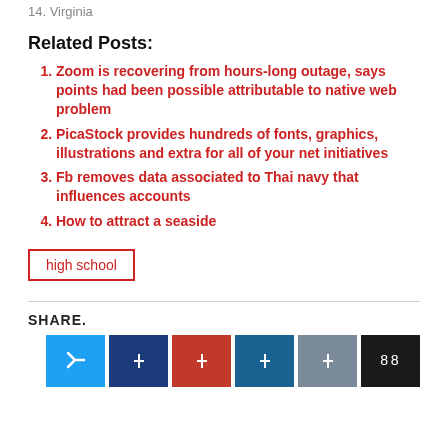14. Virginia
Related Posts:
1. Zoom is recovering from hours-long outage, says points had been possible attributable to native web problem
2. PicaStock provides hundreds of fonts, graphics, illustrations and extra for all of your net initiatives
3. Fb removes data associated to Thai navy that influences accounts
4. How to attract a seaside
high school
SHARE.